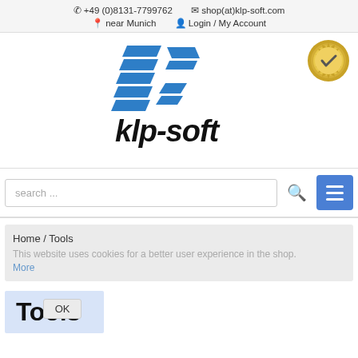+49 (0)8131-7799762   shop(at)klp-soft.com   near Munich   Login / My Account
[Figure (logo): KLP-Soft logo: blue angular K-shaped graphic mark above bold stylized text 'klp-soft' in black italic font, with a gold certification badge in the top right corner]
search ...
Home / Tools
This website uses cookies for a better user experience in the shop. More
Tools